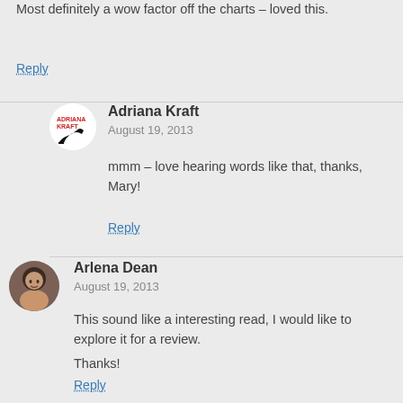Most definitely a wow factor off the charts – loved this.
Reply
Adriana Kraft
August 19, 2013
mmm – love hearing words like that, thanks, Mary!
Reply
Arlena Dean
August 19, 2013
This sound like a interesting read, I would like to explore it for a review.
Thanks!
Reply